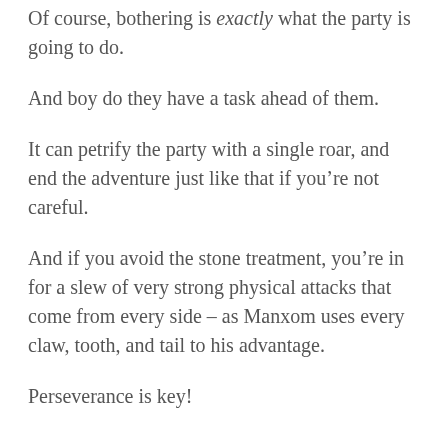Of course, bothering is exactly what the party is going to do.
And boy do they have a task ahead of them.
It can petrify the party with a single roar, and end the adventure just like that if you’re not careful.
And if you avoid the stone treatment, you’re in for a slew of very strong physical attacks that come from every side – as Manxom uses every claw, tooth, and tail to his advantage.
Perseverance is key!